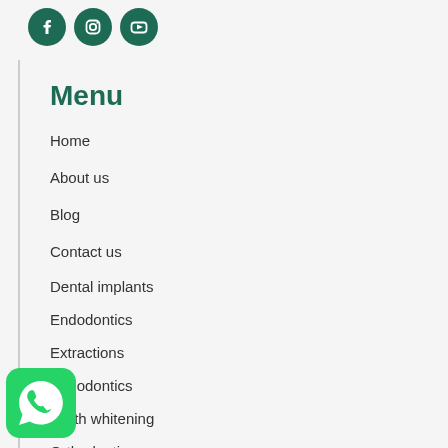[Figure (other): Three social media icons (Facebook, Instagram, YouTube) in dark green circles]
Menu
Home
About us
Blog
Contact us
Dental implants
Endodontics
Extractions
Periodontics
Teeth whitening
Orthodontics
Smile design
Invisalign
Dental bridges
[Figure (logo): WhatsApp green icon button in bottom left corner]